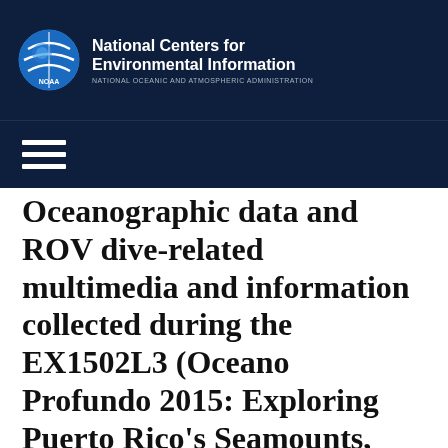National Centers for Environmental Information — NATIONAL OCEANIC AND ATMOSPHERIC ADMINISTRATION
Oceanographic data and ROV dive-related multimedia and information collected during the EX1502L3 (Oceano Profundo 2015: Exploring Puerto Rico's Seamounts, Trenches, and Troughs) expedition on NOAA Ship OKEANOS EXPLORER in the North Atlantic Ocean from